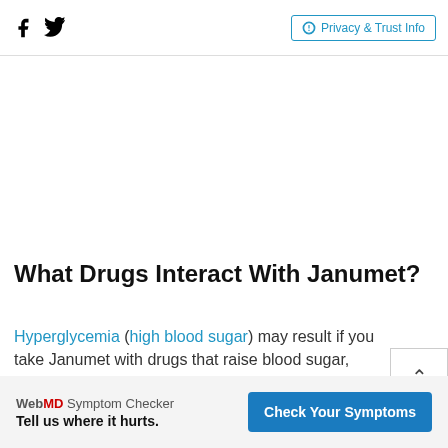Facebook Twitter | Privacy & Trust Info
What Drugs Interact With Janumet?
Hyperglycemia (high blood sugar) may result if you take Janumet with drugs that raise blood sugar, such as:
isoniazid, diuretics (water pills), steroids, phenothiazines
ADVERTISEMENT
WebMD Symptom Checker Tell us where it hurts. Check Your Symptoms